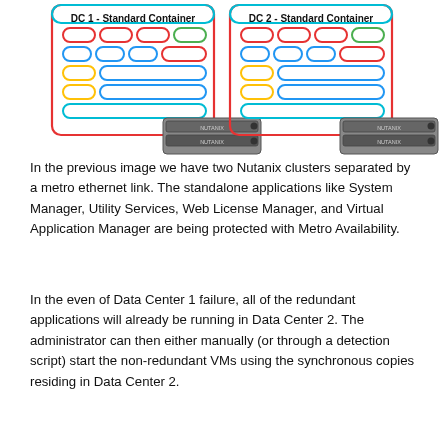[Figure (schematic): Two Nutanix clusters (DC 1 - Standard Container and DC 2 - Standard Container) side by side, each containing colored pill-shaped VM icons arranged in rows, and a server appliance below each container.]
In the previous image we have two Nutanix clusters separated by a metro ethernet link. The standalone applications like System Manager, Utility Services, Web License Manager, and Virtual Application Manager are being protected with Metro Availability.
In the even of Data Center 1 failure, all of the redundant applications will already be running in Data Center 2. The administrator can then either manually (or through a detection script) start the non-redundant VMs using the synchronous copies residing in Data Center 2.